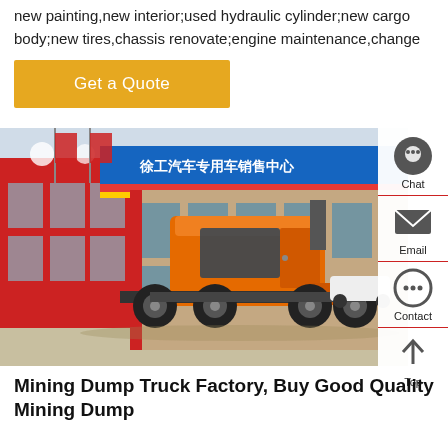new painting,new interior;used hydraulic cylinder;new cargo body;new tires,chassis renovate;engine maintenance,change
Get a Quote
[Figure (photo): Orange SINOTRUK HOWO tractor/mining truck parked in front of a commercial truck dealership building with Chinese signage. The building has a blue banner with Chinese characters and red facade panels with logos.]
Chat
Email
Contact
Top
Mining Dump Truck Factory, Buy Good Quality Mining Dump